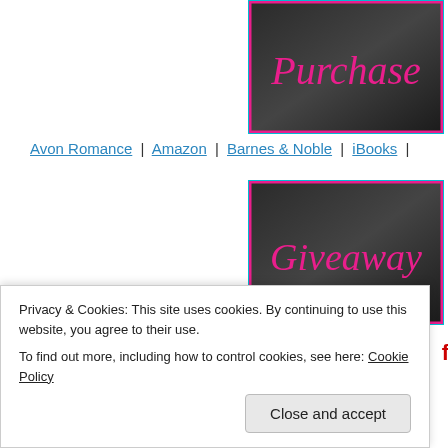[Figure (illustration): Dark leather background with pink handwritten-style text reading 'Purchase', framed with cyan and pink border]
Avon Romance | Amazon | Barnes & Noble | iBooks |
[Figure (illustration): Dark leather background with pink handwritten-style text reading 'Giveaway', framed with cyan and pink border]
There is a Kindle Paperwhite for
Privacy & Cookies: This site uses cookies. By continuing to use this website, you agree to their use.
To find out more, including how to control cookies, see here: Cookie Policy
Close and accept